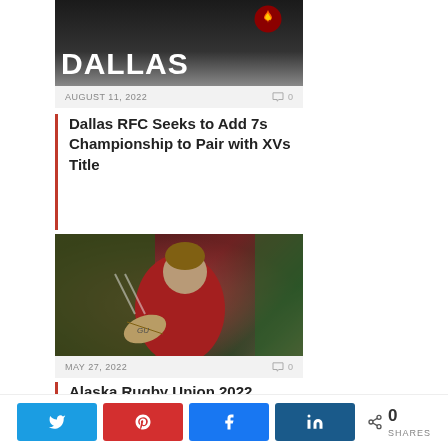[Figure (photo): Dallas RFC logo/emblem with DALLAS text in white on dark background]
AUGUST 11, 2022   💬 0
Dallas RFC Seeks to Add 7s Championship to Pair with XVs Title
[Figure (photo): Rugby action photo showing players in red and green jerseys competing]
MAY 27, 2022   💬 0
Alaska Rugby Union 2022 Schedule
[Figure (photo): Partial view of third article image]
🐦 Twitter  Pinterest  Facebook  in LinkedIn  < 0 SHARES